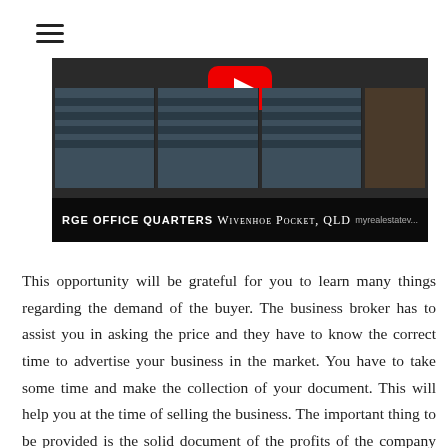[Figure (screenshot): Hamburger menu icon (three horizontal lines) in top-left corner of a webpage]
[Figure (screenshot): Video thumbnail showing garage doors/storage units with a YouTube play button overlay. Bottom bar shows text: 'RGE OFFICE QUARTERS', 'WIVENHOE POCKET, QLD', and 'myrealestatev...']
This opportunity will be grateful for you to learn many things regarding the demand of the buyer. The business broker has to assist you in asking the price and they have to know the correct time to advertise your business in the market. You have to take some time and make the collection of your document. This will help you at the time of selling the business. The important thing to be provided is the solid document of the profits of the company which will make a clear way to explain the worth of your business. Having